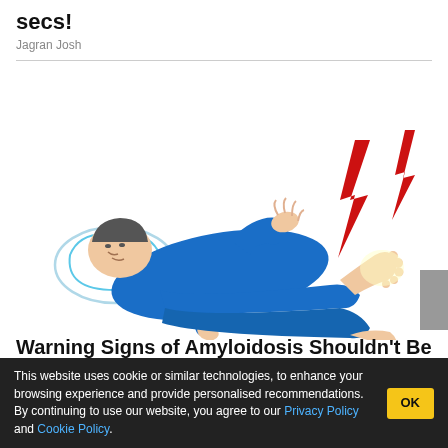secs!
Jagran Josh
[Figure (illustration): Illustration of a person lying down in blue clothing, suffering from pain with red lightning bolt symbols near their foot, representing symptoms of amyloidosis]
Warning Signs of Amyloidosis Shouldn't Be Ignored.
Amyloidosis | Sponsored
This website uses cookie or similar technologies, to enhance your browsing experience and provide personalised recommendations. By continuing to use our website, you agree to our Privacy Policy and Cookie Policy.